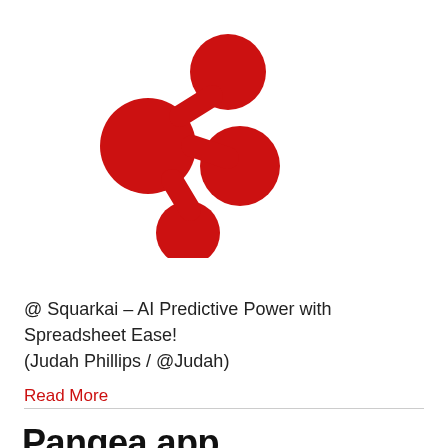[Figure (logo): Red share/network icon: three circles connected by lines, resembling a social share symbol, in red on white background]
@ Squarkai – AI Predictive Power with Spreadsheet Ease! (Judah Phillips / @Judah)
Read More
Pangea app